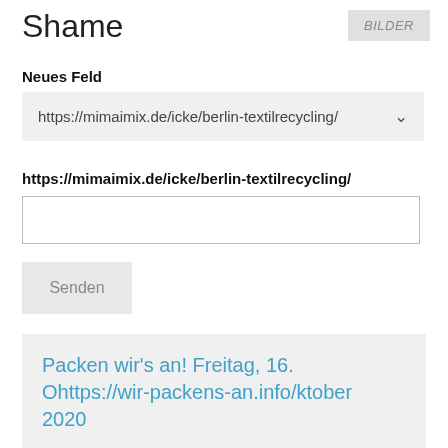Shame
BILDER
Neues Feld
https://mimaimix.de/icke/berlin-textilrecycling/
https://mimaimix.de/icke/berlin-textilrecycling/
Senden
Packen wir's an! Freitag, 16. Ohttps://wir-packens-an.info/ktober 2020